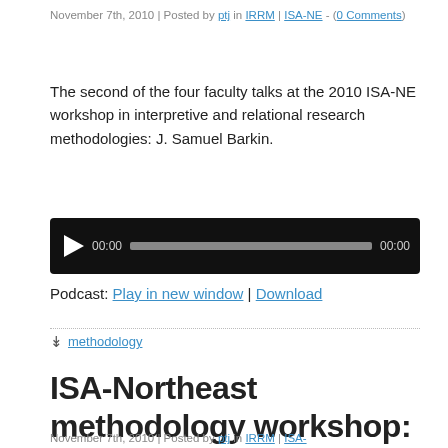November 7th, 2010 | Posted by ptj in IRRM | ISA-NE - (0 Comments)
The second of the four faculty talks at the 2010 ISA-NE workshop in interpretive and relational research methodologies: J. Samuel Barkin.
[Figure (other): Audio player widget with play button, 00:00 start time, progress bar, and 00:00 end time on a black background]
Podcast: Play in new window | Download
methodology
ISA-Northeast methodology workshop: Vincent Pouliot
November 7th, 2010 | Posted by ptj in IRRM | ISA-